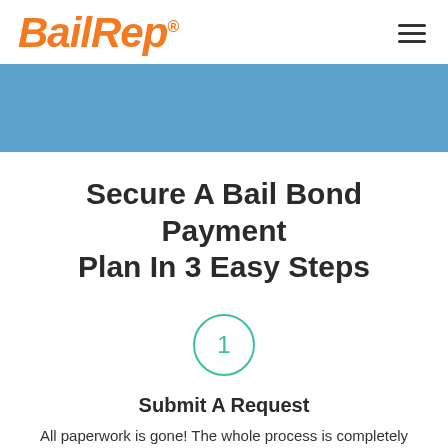BailRep®
[Figure (other): Blue decorative banner/hero image area]
Secure A Bail Bond Payment Plan In 3 Easy Steps
[Figure (infographic): Step 1 circle indicator with teal border]
Submit A Request
All paperwork is gone! The whole process is completely